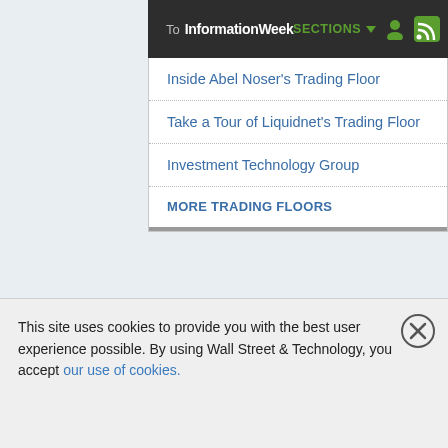To InformationWeek  SECTIONS
Inside Abel Noser's Trading Floor
Take a Tour of Liquidnet's Trading Floor
Investment Technology Group
MORE TRADING FLOORS
InformationWeek
Dark Reading
This site uses cookies to provide you with the best user experience possible. By using Wall Street & Technology, you accept our use of cookies.